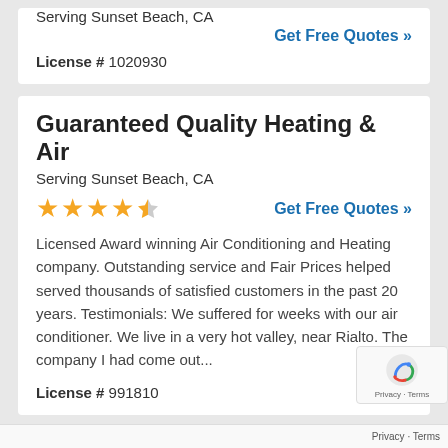Serving Sunset Beach, CA
Get Free Quotes »
License # 1020930
Guaranteed Quality Heating & Air
Serving Sunset Beach, CA
Get Free Quotes »
Licensed Award winning Air Conditioning and Heating company. Outstanding service and Fair Prices helped served thousands of satisfied customers in the past 20 years. Testimonials: We suffered for weeks with our air conditioner. We live in a very hot valley, near Rialto. The company I had come out...
License # 991810